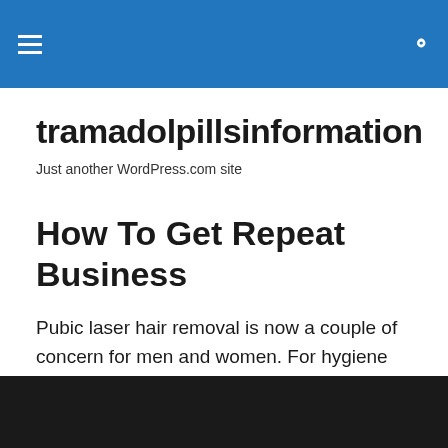tramadolpillsinformation — Just another WordPress.com site
tramadolpillsinformation
Just another WordPress.com site
How To Get Repeat Business
Pubic laser hair removal is now a couple of concern for men and women. For hygiene reasons alone people choose to get rid of unwanted hair in loud office spaces area, hence, the look up the best pubic uncomfortable method.
[Figure (photo): Dark/black image strip at the bottom of the page]